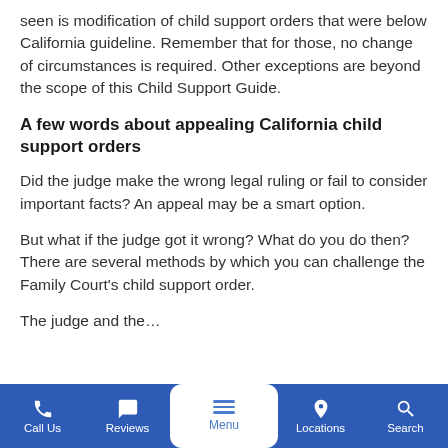seen is modification of child support orders that were below California guideline. Remember that for those, no change of circumstances is required. Other exceptions are beyond the scope of this Child Support Guide.
A few words about appealing California child support orders
Did the judge make the wrong legal ruling or fail to consider important facts? An appeal may be a smart option.
But what if the judge got it wrong? What do you do then? There are several methods by which you can challenge the Family Court's child support order.
The judge and the...
Call Us   Reviews   Menu   Locations   Search